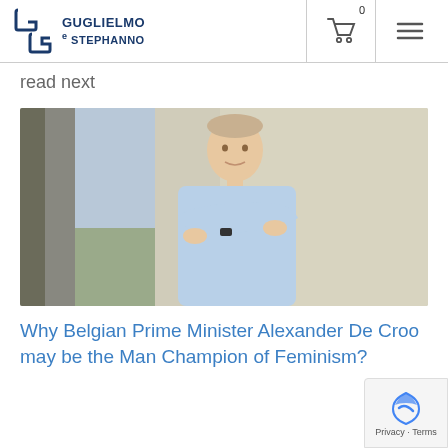GUGLIELMO e STEPHANNO
read next
[Figure (photo): Man in light blue shirt standing with arms crossed, smiling, against a wall]
Why Belgian Prime Minister Alexander De Croo may be the Man Champion of Feminism?